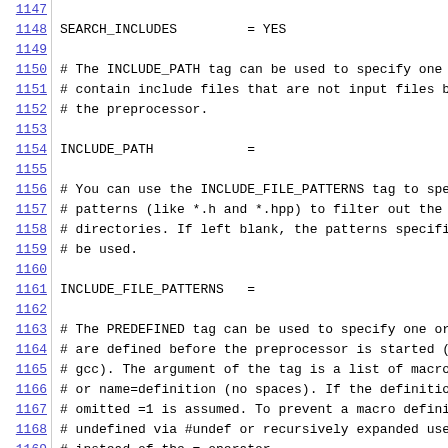code/configuration file lines 1147-1169 showing Doxygen configuration settings: SEARCH_INCLUDES, INCLUDE_PATH, INCLUDE_FILE_PATTERNS, PREDEFINED tags with comments
1147: (partial line)
1148: SEARCH_INCLUDES = YES
1149: (empty)
1150: # The INCLUDE_PATH tag can be used to specify one
1151: # contain include files that are not input files b
1152: # the preprocessor.
1153: (empty)
1154: INCLUDE_PATH =
1155: (empty)
1156: # You can use the INCLUDE_FILE_PATTERNS tag to spe
1157: # patterns (like *.h and *.hpp) to filter out the
1158: # directories. If left blank, the patterns specifi
1159: # be used.
1160: (empty)
1161: INCLUDE_FILE_PATTERNS =
1162: (empty)
1163: # The PREDEFINED tag can be used to specify one or
1164: # are defined before the preprocessor is started (
1165: # gcc). The argument of the tag is a list of macro
1166: # or name=definition (no spaces). If the definitio
1167: # omitted =1 is assumed. To prevent a macro defini
1168: # undefined via #undef or recursively expanded use
1169: # instead of the = operator.